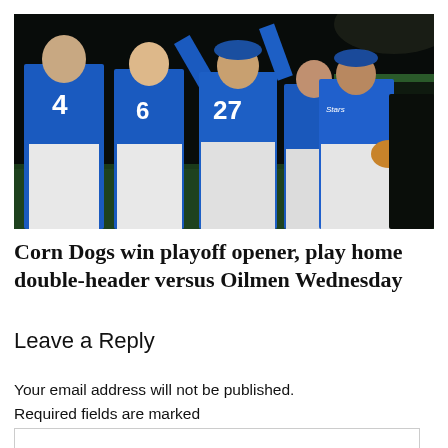[Figure (photo): Baseball players in blue jerseys and white pants celebrating on a field at night, high-fiving each other. Players wearing numbers 4, 6, and 27 visible from behind.]
Corn Dogs win playoff opener, play home double-header versus Oilmen Wednesday
Leave a Reply
Your email address will not be published. Required fields are marked